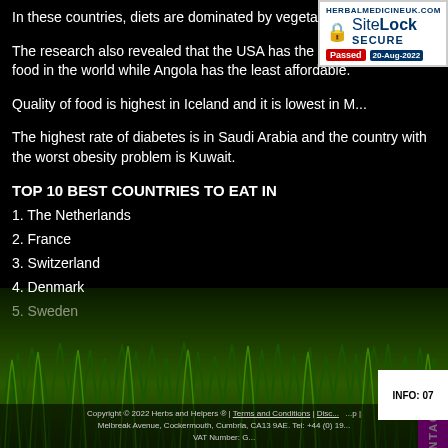In these countries, diets are dominated by vegetables.
The research also revealed that the USA has the most affordable food in the world while Angola has the least affordable.
Quality of food is highest in Iceland and it is lowest in M...
The highest rate of diabetes is in Saudi Arabia and the country with the worst obesity problem is Kuwait.
TOP 10 BEST COUNTRIES TO EAT IN
1. The Netherlands
2. France
3. Switzerland
4. Denmark
5. Sweden
Copyright © 2022 Herbs and Helpers ® | Terms and Conditions | Disclaimer | Sitemap | Melbreak Avenue, Cockermouth, Cumbria, CA13 9AE. Tel: +44 (0) 19... VAT Number: G...